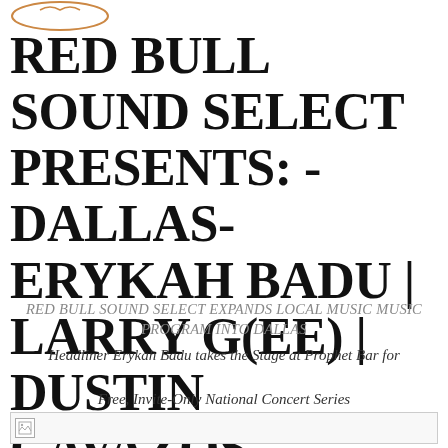[Figure (logo): Red Bull logo graphic (partial, top left)]
RED BULL SOUND SELECT PRESENTS: -DALLAS- ERYKAH BADU | LARRY G(EE) | DUSTIN CAVAZOS
RED BULL SOUND SELECT EXPANDS LOCAL MUSIC PROGRAM INTO DALLAS
Headliner Erykah Badu takes the Stage at Prophet Bar for
Free, Invite-Only National Concert Series
[Figure (photo): Image placeholder with broken image icon]